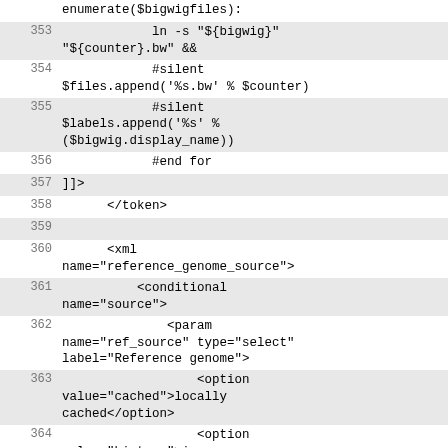353   ln -s "${bigwig}" "${counter}.bw" &&
354   #silent $files.append('%s.bw' % $counter)
355   #silent $labels.append('%s' % ($bigwig.display_name))
356   #end for
357   ]]>
358       </token>
359
360       <xml name="reference_genome_source">
361           <conditional name="source">
362               <param name="ref_source" type="select" label="Reference genome">
363                   <option value="cached">locally cached</option>
364                   <option value="history">in your history</option>
365               </param>
366               <when value="cached">
367                   <param name="input1_2bit" type="select" label="Using reference genome"